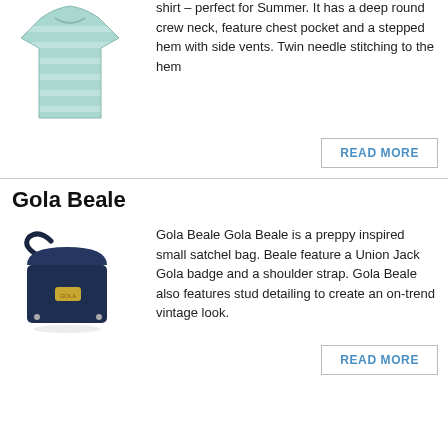[Figure (photo): Light blue/mint striped short-sleeve t-shirt product photo]
shirt – perfect for Summer. It has a deep round crew neck, feature chest pocket and a stepped hem with side vents. Twin needle stitching to the hem
READ MORE
Gola Beale
[Figure (photo): Navy blue small satchel bag with gold Union Jack Gola badge and shoulder strap]
Gola Beale Gola Beale is a preppy inspired small satchel bag. Beale feature a Union Jack Gola badge and a shoulder strap. Gola Beale also features stud detailing to create an on-trend vintage look.
READ MORE